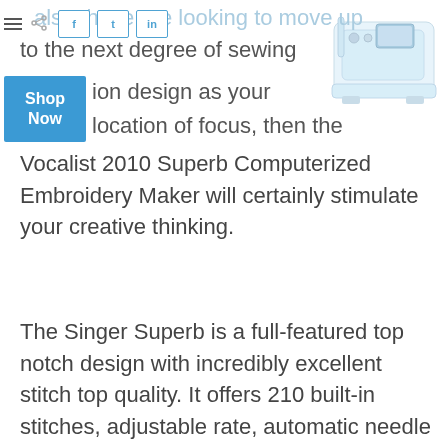also these are looking to move up to the next degree of sewing ion design as your location of focus, then the Vocalist 2010 Superb Computerized Embroidery Maker will certainly stimulate your creative thinking.
[Figure (photo): White sewing machine (Singer Superb) on white background, upper right corner]
The Singer Superb is a full-featured top notch design with incredibly excellent stitch top quality. It offers 210 built-in stitches, adjustable rate, automatic needle threading and also 10 presser feet for the liberty to allow your imagination radiate in your ended up task.